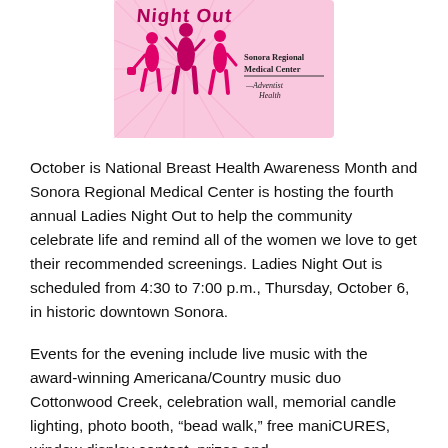[Figure (logo): Ladies Night Out logo with pink silhouettes of women and Sonora Regional Medical Center Adventist Health branding]
October is National Breast Health Awareness Month and Sonora Regional Medical Center is hosting the fourth annual Ladies Night Out to help the community celebrate life and remind all of the women we love to get their recommended screenings. Ladies Night Out is scheduled from 4:30 to 7:00 p.m., Thursday, October 6, in historic downtown Sonora.
Events for the evening include live music with the award-winning Americana/Country music duo Cottonwood Creek, celebration wall, memorial candle lighting, photo booth, “bead walk,” free maniCURES, window display contest, prizes and